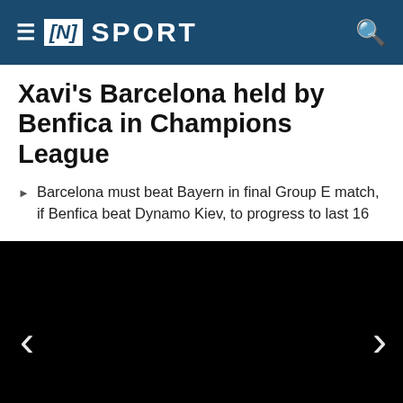[N] SPORT
Xavi's Barcelona held by Benfica in Champions League
Barcelona must beat Bayern in final Group E match, if Benfica beat Dynamo Kiev, to progress to last 16
[Figure (photo): Black image with left and right navigation arrows for a photo slideshow]